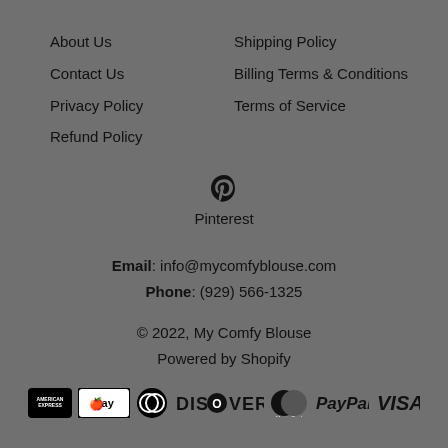About Us
Contact Us
Privacy Policy
Refund Policy
Shipping Policy
Billing Terms & Conditions
Terms of Service
[Figure (logo): Pinterest icon (P symbol) with Pinterest text below]
Email: info@mycomfyblouse.com
Phone: (929) 566-1325
© 2022, My Comfy Blouse
Powered by Shopify
[Figure (logo): Payment method logos: American Express, Apple Pay, Diners Club, Discover, MasterCard, PayPal, VISA]